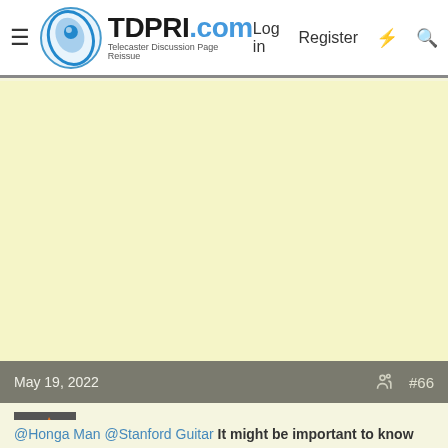TDPRI.com - Telecaster Discussion Page Reissue | Log in | Register
[Figure (other): Advertisement / empty yellow content area]
May 19, 2022  #66
imwjl
Doctor of Teleocity
@Honga Man @Stanford Guitar It might be important to know